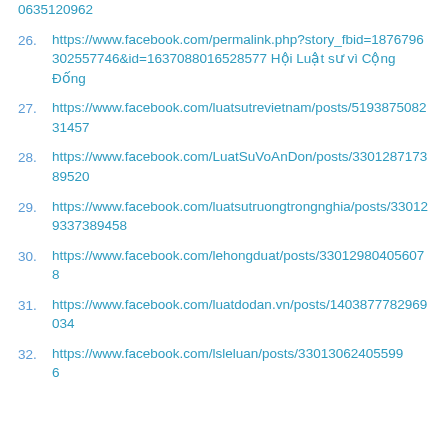26. https://www.facebook.com/permalink.php?story_fbid=1876796302557746&id=1637088016528577 Hội Luật sư vì Cộng Đống
27. https://www.facebook.com/luatsutrevietnam/posts/519387508231457
28. https://www.facebook.com/LuatSuVoAnDon/posts/330128717389520
29. https://www.facebook.com/luatsutruongtrongnghia/posts/330129337389458
30. https://www.facebook.com/lehongduat/posts/330129804056078
31. https://www.facebook.com/luatdodan.vn/posts/1403877782969034
32. https://www.facebook.com/lsleluan/posts/330130624055996